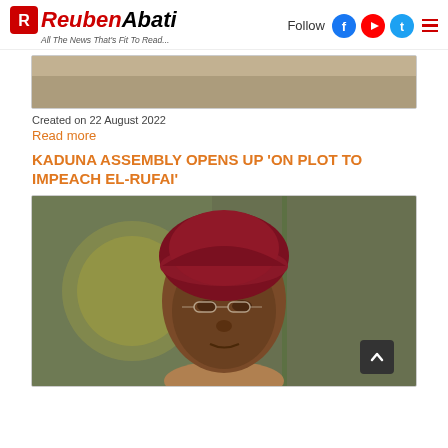ReubenAbati — All The News That's Fit To Read... | Follow [Facebook] [YouTube] [Twitter]
[Figure (photo): Top partial image showing a rocky/sandy landscape, partially cropped at top]
Created on 22 August 2022
Read more
KADUNA ASSEMBLY OPENS UP 'ON PLOT TO IMPEACH EL-RUFAI'
[Figure (photo): Portrait photo of El-Rufai wearing a dark red/maroon cap and glasses, with a blurred background showing what appears to be an official seal or flag]